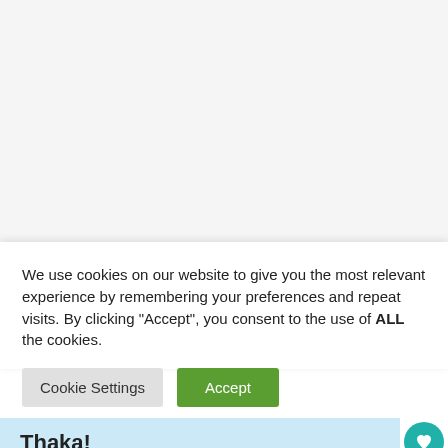[Figure (screenshot): White/light gray background area representing a webpage screenshot background]
We use cookies on our website to give you the most relevant experience by remembering your preferences and repeat visits. By clicking “Accept”, you consent to the use of ALL the cookies.
Cookie Settings
Accept
Thaka!
UPDATE 2: by popular deman... Loaded has now revived the Kut-